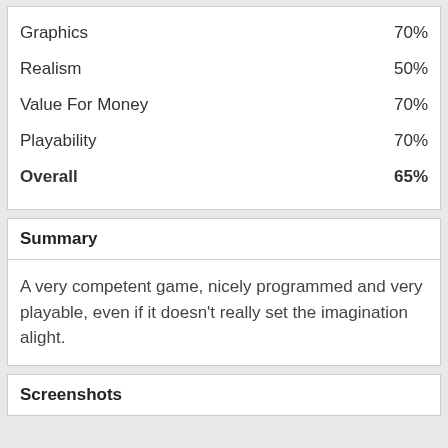| Category | Score |
| --- | --- |
| Graphics | 70% |
| Realism | 50% |
| Value For Money | 70% |
| Playability | 70% |
| Overall | 65% |
Summary
A very competent game, nicely programmed and very playable, even if it doesn't really set the imagination alight.
Screenshots